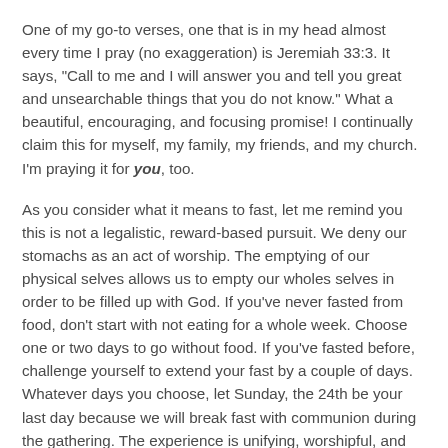One of my go-to verses, one that is in my head almost every time I pray (no exaggeration) is Jeremiah 33:3. It says, "Call to me and I will answer you and tell you great and unsearchable things that you do not know." What a beautiful, encouraging, and focusing promise! I continually claim this for myself, my family, my friends, and my church. I'm praying it for you, too.
As you consider what it means to fast, let me remind you this is not a legalistic, reward-based pursuit. We deny our stomachs as an act of worship. The emptying of our physical selves allows us to empty our wholes selves in order to be filled up with God. If you've never fasted from food, don't start with not eating for a whole week. Choose one or two days to go without food. If you've fasted before, challenge yourself to extend your fast by a couple of days. Whatever days you choose, let Sunday, the 24th be your last day because we will break fast with communion during the gathering. The experience is unifying, worshipful, and beautiful. (Chad will teach on fasting this coming Sunday to provide further scripture, instruction, and help.)